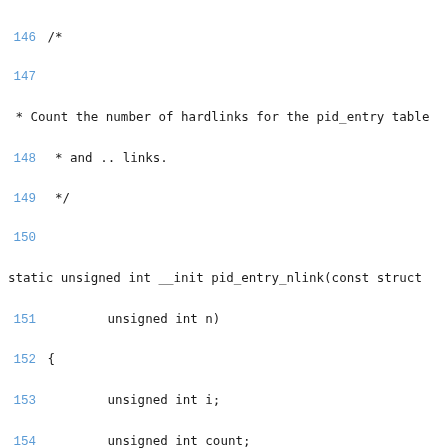Source code listing lines 146-167, showing C functions pid_entry_nlink and get_task_root